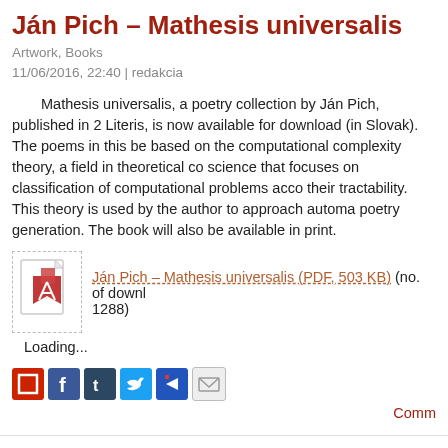Ján Pich – Mathesis universalis
Artwork, Books
11/06/2016, 22:40 | redakcia
Mathesis universalis, a poetry collection by Ján Pich, published in 2... Literis, is now available for download (in Slovak). The poems in this bo... based on the computational complexity theory, a field in theoretical co... science that focuses on classification of computational problems acco... their tractability. This theory is used by the author to approach automa... poetry generation. The book will also be available in print.
[Figure (other): PDF file icon for Ján Pich – Mathesis universalis]
Ján Pich – Mathesis universalis (PDF, 503 KB) (no. of downl... 1288)
Loading...
[Figure (other): Social sharing icons row]
Comm...
kloaka 1/2016
Issues
06/07/2016, 17:54 | redakcia